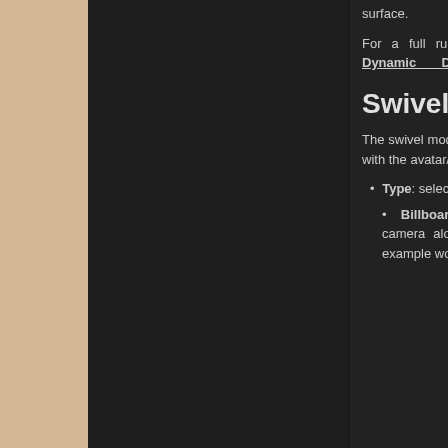surface.
For a full rundown of decals, click on the Dynamic Decals tutorial.
Swivel
The swivel mod causes the object to rotate along with the avatar/camera.
Type: selects the type of swivel used.
Billboard: rotates the object with the camera along the object's local y-axis. An example would be the